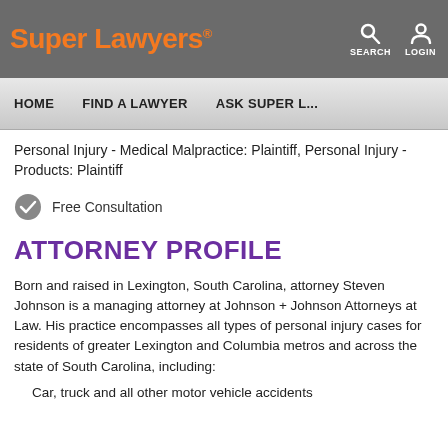Super Lawyers® | SEARCH | LOGIN
HOME | FIND A LAWYER | ASK SUPER L...
Personal Injury - Medical Malpractice: Plaintiff, Personal Injury - Products: Plaintiff
Free Consultation
ATTORNEY PROFILE
Born and raised in Lexington, South Carolina, attorney Steven Johnson is a managing attorney at Johnson + Johnson Attorneys at Law. His practice encompasses all types of personal injury cases for residents of greater Lexington and Columbia metros and across the state of South Carolina, including:
Car, truck and all other motor vehicle accidents